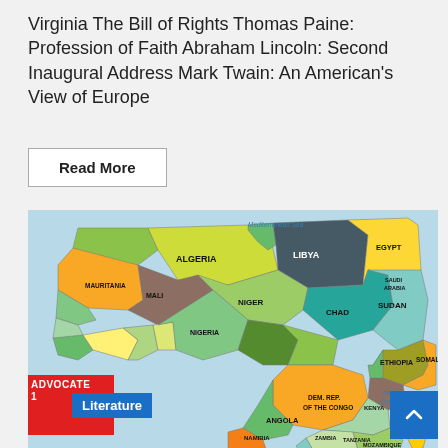Virginia The Bill of Rights Thomas Paine: Profession of Faith Abraham Lincoln: Second Inaugural Address Mark Twain: An American's View of Europe
Read More
[Figure (map): Political map of Africa showing country borders and names, with countries colored in various shades of green, yellow, brown, and orange. Labels include Algeria, Libya, Egypt, Sudan, Ethiopia, Somalia, Kenya, DEM. REP. OF THE CONGO, Angola, Mozambique, Madagascar, South Africa, Namibia, Botswana, Zambia, Mali, Mauritania, Niger, Chad, Nigeria, and others. Bodies of water labeled include Mediterranean Sea, South Atlantic, and Indian Ocean.]
ADVOCATE
Literature
Literary background of the Christian Africa